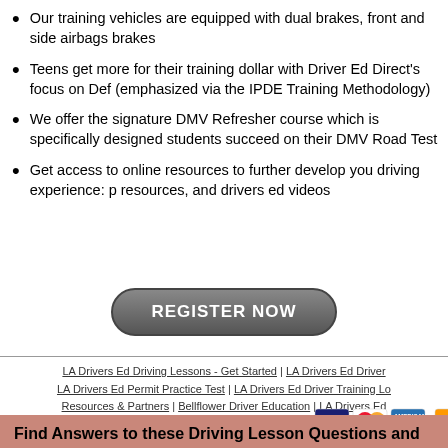Our training vehicles are equipped with dual brakes, front and side airbags brakes
Teens get more for their training dollar with Driver Ed Direct's focus on Def (emphasized via the IPDE Training Methodology)
We offer the signature DMV Refresher course which is specifically designed students succeed on their DMV Road Test
Get access to online resources to further develop you driving experience: p resources, and drivers ed videos
[Figure (other): REGISTER NOW button - dark grey rounded rectangle button with white bold text]
LA Drivers Ed Driving Lessons - Get Started | LA Drivers Ed Driver LA Drivers Ed Permit Practice Test | LA Drivers Ed Driver Training Lo Resources & Partners | Bellflower Driver Education | LA Drivers Ed
[Figure (other): Payment card icons: VISA, MasterCard, American Express, and another card]
Find Answers to these Driving Lesson Questions and